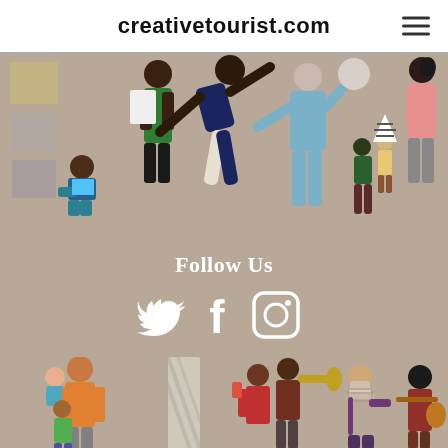creativetourist.com
[Figure (illustration): Illustrated figures of people in a gallery/museum setting: a child sitting and reading, a tall figure reading, a person in a deep stretch/yoga pose, a person gesturing, two children, and a parent with child, all in flat illustration style on a tan/beige background.]
Follow Us
[Figure (illustration): Three white social media icons: Twitter bird, Facebook f, and Instagram camera, centered on tan background.]
[Figure (illustration): Illustrated figures of people: a family group hugging, a person looking in a mirror with diagonal stripes, a child with phone and person playing trumpet, a masked person, and a person playing guitar/lute, all in flat illustration style on a tan/beige background.]